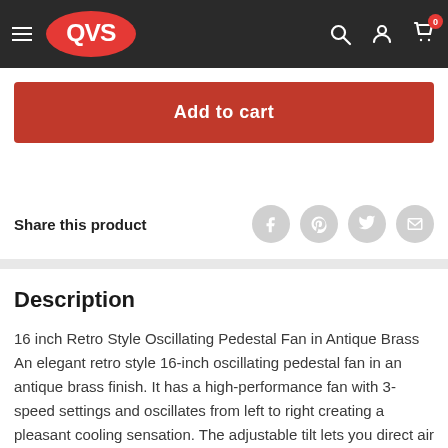QVS
Add to cart
Share this product
Description
16 inch Retro Style Oscillating Pedestal Fan in Antique Brass
An elegant retro style 16-inch oscillating pedestal fan in an antique brass finish. It has a high-performance fan with 3-speed settings and oscillates from left to right creating a pleasant cooling sensation. The adjustable tilt lets you direct air to where it's needed most.